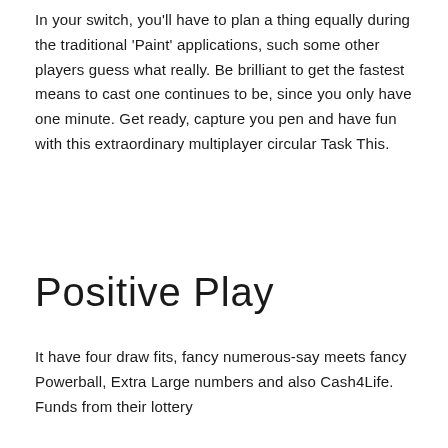In your switch, you'll have to plan a thing equally during the traditional 'Paint' applications, such some other players guess what really. Be brilliant to get the fastest means to cast one continues to be, since you only have one minute. Get ready, capture you pen and have fun with this extraordinary multiplayer circular Task This.
Positive Play
It have four draw fits, fancy numerous-say meets fancy Powerball, Extra Large numbers and also Cash4Life. Funds from their lottery